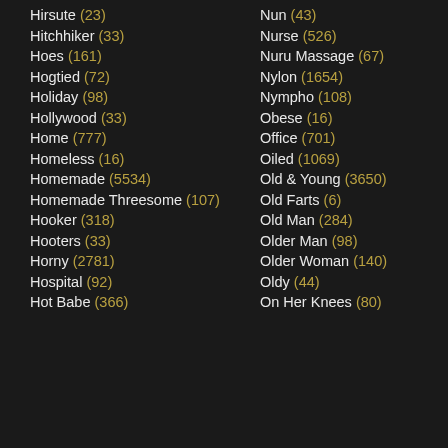Hirsute (23)
Hitchhiker (33)
Hoes (161)
Hogtied (72)
Holiday (98)
Hollywood (33)
Home (777)
Homeless (16)
Homemade (5534)
Homemade Threesome (107)
Hooker (318)
Hooters (33)
Horny (2781)
Hospital (92)
Hot Babe (366)
Nun (43)
Nurse (526)
Nuru Massage (67)
Nylon (1654)
Nympho (108)
Obese (16)
Office (701)
Oiled (1069)
Old & Young (3650)
Old Farts (6)
Old Man (284)
Older Man (98)
Older Woman (140)
Oldy (44)
On Her Knees (80)